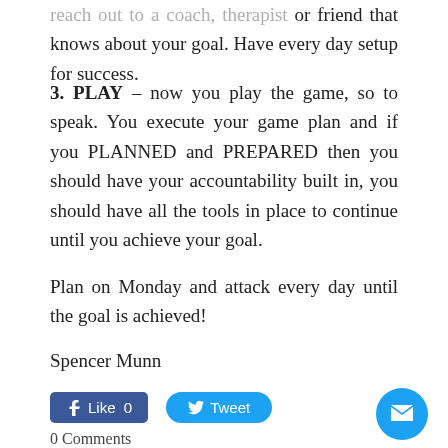reach out to a coach, therapist or friend that knows about your goal. Have every day setup for success.
3. PLAY – now you play the game, so to speak. You execute your game plan and if you PLANNED and PREPARED then you should have your accountability built in, you should have all the tools in place to continue until you achieve your goal.
Plan on Monday and attack every day until the goal is achieved!
Spencer Munn
0 Comments